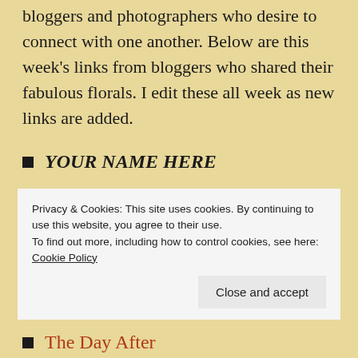bloggers and photographers who desire to connect with one another. Below are this week's links from bloggers who shared their fabulous florals. I edit these all week as new links are added.
YOUR NAME HERE
Always Write
Between the Lines
Privacy & Cookies: This site uses cookies. By continuing to use this website, you agree to their use.
To find out more, including how to control cookies, see here: Cookie Policy
The Day After